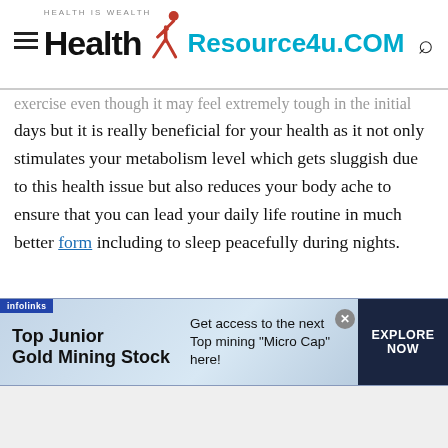HEALTH IS WEALTH | Health Resource4u.COM
exercise even though it may feel extremely tough in the initial days but it is really beneficial for your health as it not only stimulates your metabolism level which gets sluggish due to this health issue but also reduces your body ache to ensure that you can lead your daily life routine in much better form including to sleep peacefully during nights.
However, you should not think of workout beyond your
[Figure (screenshot): Infolinks advertisement banner: Top Junior Gold Mining Stock - Get access to the next Top mining "Micro Cap" here! - EXPLORE NOW]